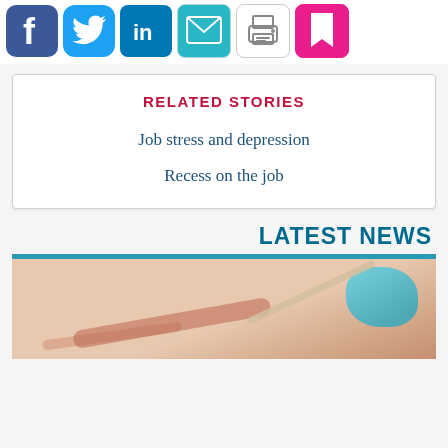[Figure (illustration): Social media sharing icons: Facebook (blue), Twitter (light blue), LinkedIn (dark blue), Email (teal), Print (white/grey), Bookmark (pink)]
RELATED STORIES
Job stress and depression
Recess on the job
LATEST NEWS
[Figure (photo): Close-up photo of a medical/lab procedure, showing a swab or stick with blurred orange/red background and a blue-gloved hand in the upper right.]